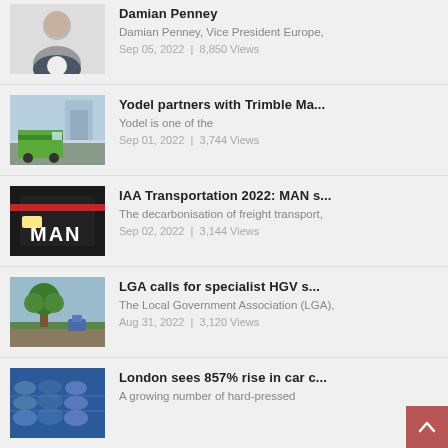Damian Penney | Damian Penney, Vice President Europe, | Sep 05, 2022 | 8,850 Views
Yodel partners with Trimble Ma... | Yodel is one of the | Sep 01, 2022 | 3,744 Views
IAA Transportation 2022: MAN s... | The decarbonisation of freight transport, | Sep 02, 2022 | 3,144 Views
LGA calls for specialist HGV s... | The Local Government Association (LGA), | Aug 31, 2022 | 3,120 Views
London sees 857% rise in car c... | A growing number of hard-pressed